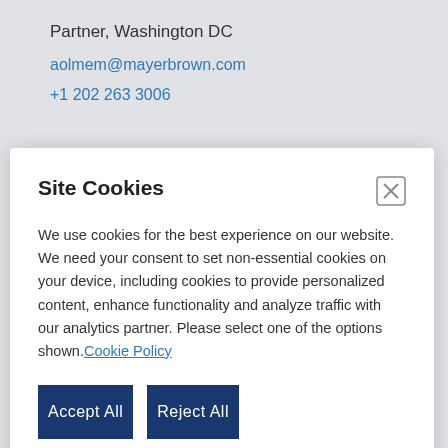Partner, Washington DC
aolmem@mayerbrown.com
+1 202 263 3006
Site Cookies
We use cookies for the best experience on our website. We need your consent to set non-essential cookies on your device, including cookies to provide personalized content, enhance functionality and analyze traffic with our analytics partner. Please select one of the options shown. Cookie Policy
Accept All
Reject All
Manage Options
T... C...